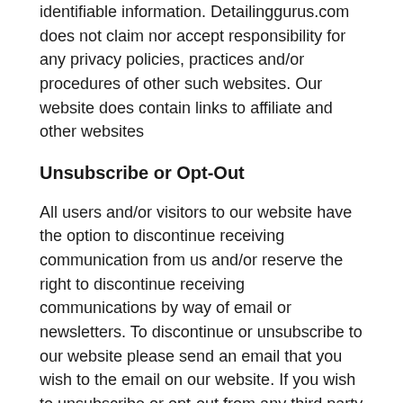identifiable information. Detailinggurus.com does not claim nor accept responsibility for any privacy policies, practices and/or procedures of other such websites. Our website does contain links to affiliate and other websites
Unsubscribe or Opt-Out
All users and/or visitors to our website have the option to discontinue receiving communication from us and/or reserve the right to discontinue receiving communications by way of email or newsletters. To discontinue or unsubscribe to our website please send an email that you wish to the email on our website. If you wish to unsubscribe or opt-out from any third party websites, you must go